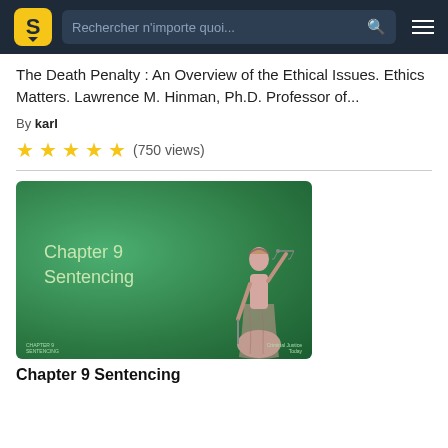Rechercher n'importe quoi...
The Death Penalty : An Overview of the Ethical Issues. Ethics Matters. Lawrence M. Hinman, Ph.D. Professor of...
By karl
★★★★★ (750 views)
[Figure (screenshot): Green gradient slide thumbnail showing 'Chapter 9 Sentencing' text with a Lady Justice illustration on the right side]
Chapter 9 Sentencing